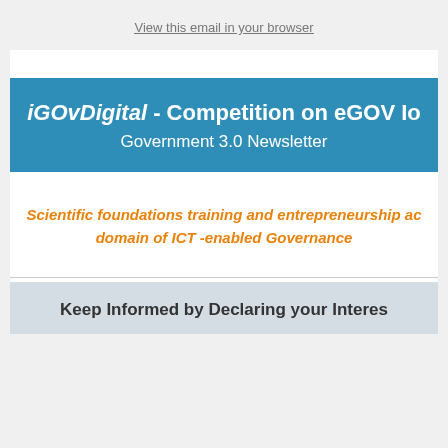View this email in your browser
iGOvDigital - Competition on eGOV Io... Government 3.0 Newsletter
Scientific foundations training and entrepreneurship ac... domain of ICT -enabled Governance
Keep Informed by Declaring your Interest...